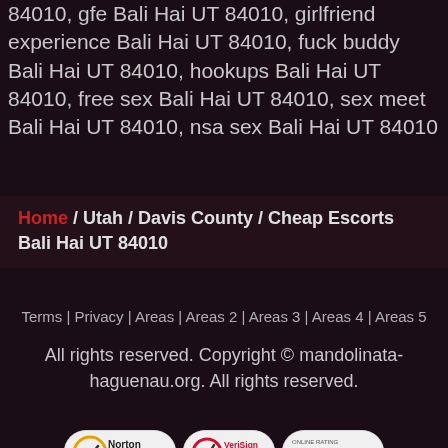84010, gfe Bali Hai UT 84010, girlfriend experience Bali Hai UT 84010, fuck buddy Bali Hai UT 84010, hookups Bali Hai UT 84010, free sex Bali Hai UT 84010, sex meet Bali Hai UT 84010, nsa sex Bali Hai UT 84010
Home / Utah / Davis County / Cheap Escorts Bali Hai UT 84010
Terms | Privacy | Areas | Areas 2 | Areas 3 | Areas 4 | Areas 5
All rights reserved. Copyright © mandolinata-haguenau.org. All rights reserved.
[Figure (logo): Three security badge logos: Norton Secured, VeriSign Secured, and Online Rating Protector]